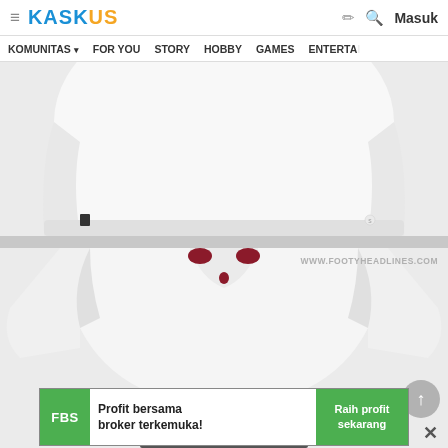KASKUS — KOMUNITAS FOR YOU STORY HOBBY GAMES ENTERTAL — Masuk
[Figure (photo): Back view of a white football jersey (lower portion), shown against a light grey background. Small dark logo tag visible on the left hem.]
[Figure (photo): Front/top view of a white football jersey with dark red/maroon collar detail and dark grey stripe at the bottom. Watermark: WWW.FOOTYHEADLINES.COM]
[Figure (infographic): Advertisement banner: FBS broker — 'Profit bersama broker terkemuka!' with green 'Raih profit sekarang' button]